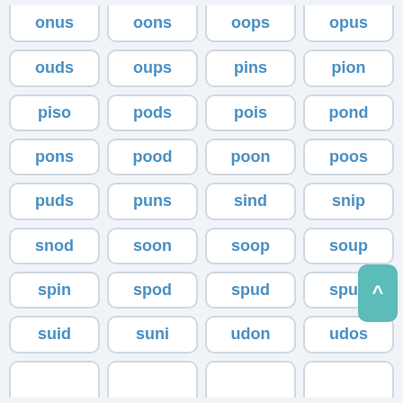onus
oons
oops
opus
ouds
oups
pins
pion
piso
pods
pois
pond
pons
pood
poon
poos
puds
puns
sind
snip
snod
soon
soop
soup
spin
spod
spud
spun
suid
suni
udon
udos